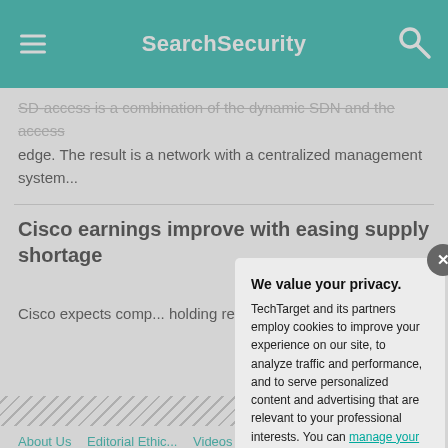SearchSecurity
SD-access is a combination of the Dynamic SDN and the access edge. The result is a network with a centralized management system...
Cisco earnings improve with easing supply shortage
Cisco expects comp... holding revenue grow... ...
About Us   Editorial Ethic...   Videos   Photo Stories
Definitions   Guides   Ac...   Corporate Site
Contributors   CPE and C...
We value your privacy.
TechTarget and its partners employ cookies to improve your experience on our site, to analyze traffic and performance, and to serve personalized content and advertising that are relevant to your professional interests. You can manage your settings at any time. Please view our Privacy Policy for more information